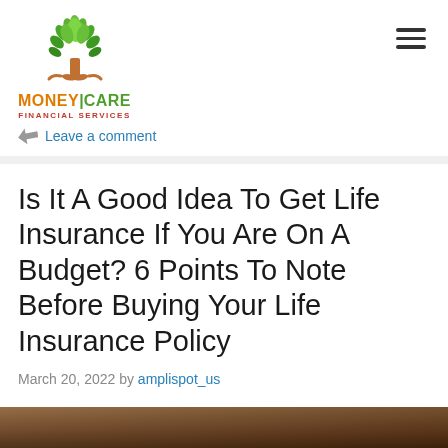[Figure (logo): MoneyCare Financial Services logo - green tree with orange trunk, text MONEY|CARE in orange and green, FINANCIAL SERVICES in red below]
Leave a comment
Is It A Good Idea To Get Life Insurance If You Are On A Budget? 6 Points To Note Before Buying Your Life Insurance Policy
March 20, 2022 by amplispot_us
[Figure (photo): Bottom portion of article image, partially visible - appears to be a person]